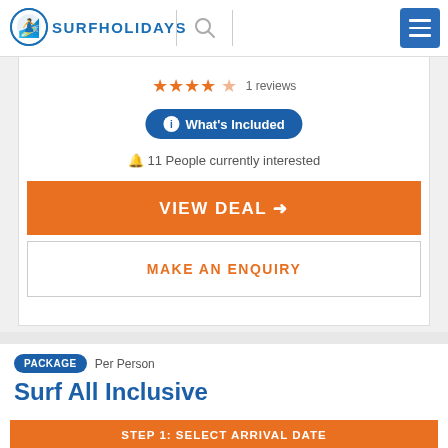SURFHOLIDAYS
1 reviews
What's Included
11 People currently interested
VIEW DEAL →
MAKE AN ENQUIRY
PACKAGE Per Person
Surf All Inclusive
STEP 1: SELECT ARRIVAL DATE